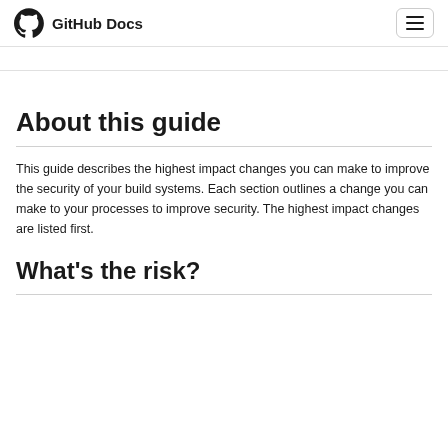GitHub Docs
About this guide
This guide describes the highest impact changes you can make to improve the security of your build systems. Each section outlines a change you can make to your processes to improve security. The highest impact changes are listed first.
What's the risk?